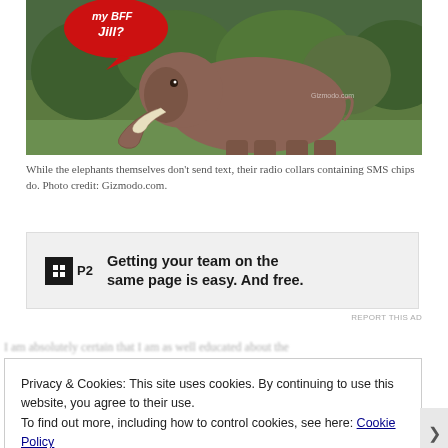[Figure (photo): Photo of a large African elephant standing in a savanna/bush landscape with green vegetation behind it. A red speech bubble at the top left reads 'Jill?' with red arrow pointing at the elephant.]
While the elephants themselves don't send text, their radio collars containing SMS chips do. Photo credit: Gizmodo.com.
[Figure (infographic): Advertisement banner with P2 logo and text: Getting your team on the same page is easy. And free.]
REPORT THIS AD
Privacy & Cookies: This site uses cookies. By continuing to use this website, you agree to their use.
To find out more, including how to control cookies, see here: Cookie Policy
Close and accept